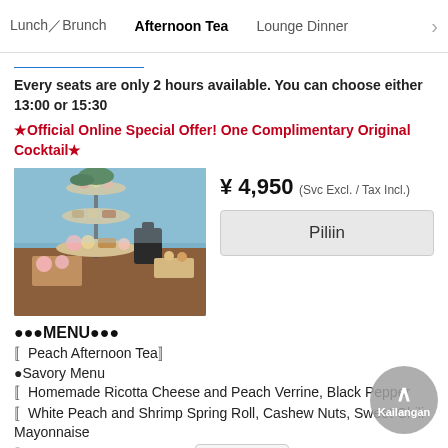Lunch＆Brunch   Afternoon Tea   Lounge Dinner  >
Every seats are only 2 hours available. You can choose either 13:00 or 15:30
★Official Online Special Offer! One Complimentary Original Cocktail★
[Figure (photo): Photo of a tiered afternoon tea stand with pastries, sweets, and savory items on a wooden table]
¥ 4,950 (Svc Excl. / Tax Incl.)
Piliin
●●●MENU●●●
〚Peach Afternoon Tea〛
●Savory Menu
〚Homemade Ricotta Cheese and Peach Verrine, Black Pepper
〚White Peach and Shrimp Spring Roll, Cashew Nuts, Sweet Chili Mayonnaise
〚Jambon Blanc and Yellow … Ginger Peach Tea Flavor